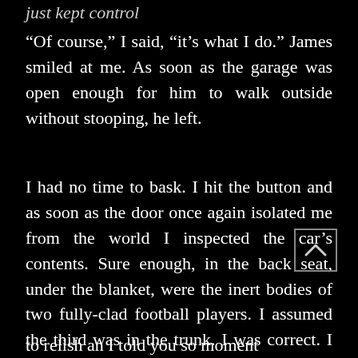just kept control
“Of course,” I said, “it’s what I do.” James smiled at me. As soon as the garage was open enough for him to walk outside without stooping, he left.
I had no time to bask. I hit the button and as soon as the door once again isolated me from the world I inspected the car’s contents. Sure enough, in the back seat, under the blanket, were the inert bodies of two fully-clad football players. I assumed the third was in the trunk. I was correct. I went back inside the house to where Chloe still sat in the kitchen. Time to relish an I told you so moment